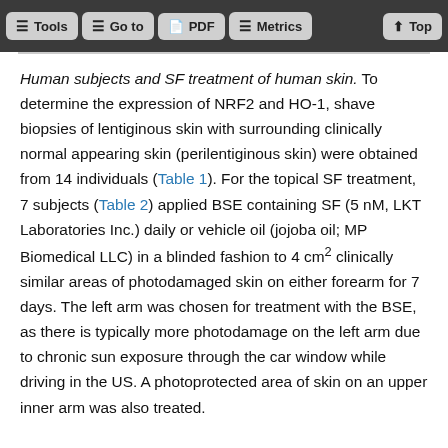Tools | Go to | PDF | Metrics | Top
Human subjects and SF treatment of human skin. To determine the expression of NRF2 and HO-1, shave biopsies of lentiginous skin with surrounding clinically normal appearing skin (perilentiginous skin) were obtained from 14 individuals (Table 1). For the topical SF treatment, 7 subjects (Table 2) applied BSE containing SF (5 nM, LKT Laboratories Inc.) daily or vehicle oil (jojoba oil; MP Biomedical LLC) in a blinded fashion to 4 cm² clinically similar areas of photodamaged skin on either forearm for 7 days. The left arm was chosen for treatment with the BSE, as there is typically more photodamage on the left arm due to chronic sun exposure through the car window while driving in the US. A photoprotected area of skin on an upper inner arm was also treated.